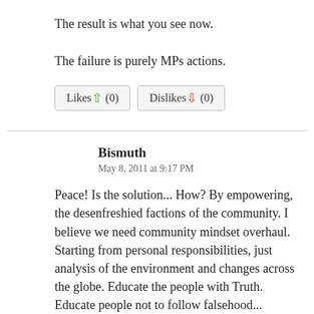The result is what you see now.
The failure is purely MPs actions.
Likes (0)   Dislikes (0)
Bismuth
May 8, 2011 at 9:17 PM
Peace! Is the solution... How? By empowering, the desenfreshied factions of the community. I believe we need community mindset overhaul. Starting from personal responsibilities, just analysis of the environment and changes across the globe. Educate the people with Truth. Educate people not to follow falsehood...
Perhaps this country as well as the whole globe